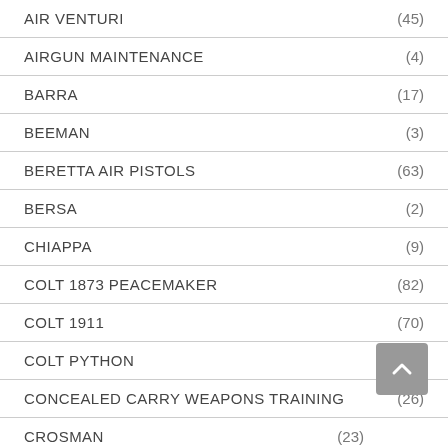AIR VENTURI (45)
AIRGUN MAINTENANCE (4)
BARRA (17)
BEEMAN (3)
BERETTA AIR PISTOLS (63)
BERSA (2)
CHIAPPA (9)
COLT 1873 PEACEMAKER (82)
COLT 1911 (70)
COLT PYTHON (9)
CONCEALED CARRY WEAPONS TRAINING (26)
CROSMAN (23)
CZ (32)